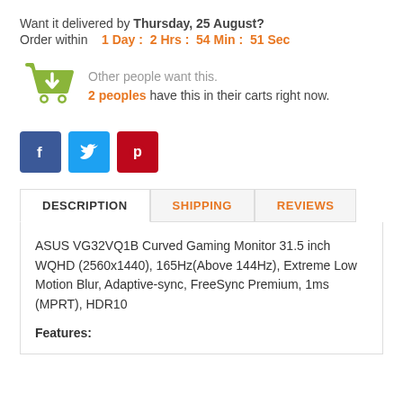Want it delivered by Thursday, 25 August?
Order within   1 Day :  2 Hrs :  54 Min :  51 Sec
Other people want this.
2 peoples have this in their carts right now.
[Figure (infographic): Shopping cart icon in olive/green color]
[Figure (infographic): Social share buttons: Facebook (blue f), Twitter (blue bird), Pinterest (red P)]
DESCRIPTION
SHIPPING
REVIEWS
ASUS VG32VQ1B Curved Gaming Monitor 31.5 inch WQHD (2560x1440), 165Hz(Above 144Hz), Extreme Low Motion Blur, Adaptive-sync, FreeSync Premium, 1ms (MPRT), HDR10
Features: